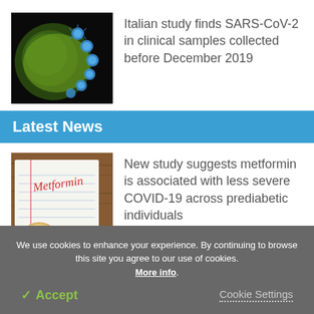[Figure (photo): Microscope image of SARS-CoV-2 virus particles (blue/teal spheres) on yellow-green cell surface against black background]
Italian study finds SARS-CoV-2 in clinical samples collected before December 2019
Latest News
[Figure (photo): Photo of a notepad with 'Metformin' written in red handwriting, with pills visible below]
New study suggests metformin is associated with less severe COVID-19 across prediabetic individuals
We use cookies to enhance your experience. By continuing to browse this site you agree to our use of cookies. More info.
✓ Accept
Cookie Settings